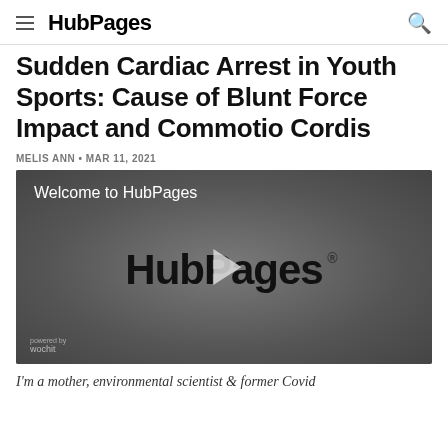HubPages
Sudden Cardiac Arrest in Youth Sports: Cause of Blunt Force Impact and Commotio Cordis
MELIS ANN • MAR 11, 2021
[Figure (screenshot): Video player showing HubPages welcome video with HubPages logo and play button overlay, powered by wochit]
I'm a mother, environmental scientist & former Covid